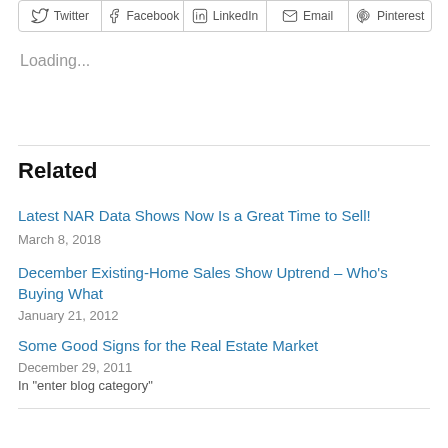[Figure (other): Social share buttons row: Twitter, Facebook, LinkedIn, Email, Pinterest]
Loading...
Related
Latest NAR Data Shows Now Is a Great Time to Sell!
March 8, 2018
December Existing-Home Sales Show Uptrend – Who's Buying What
January 21, 2012
Some Good Signs for the Real Estate Market
December 29, 2011
In "enter blog category"